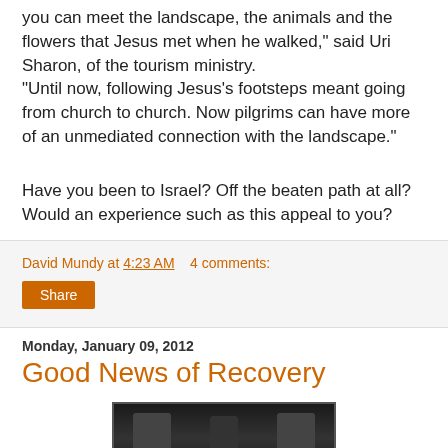you can meet the landscape, the animals and the flowers that Jesus met when he walked," said Uri Sharon, of the tourism ministry.
"Until now, following Jesus's footsteps meant going from church to church. Now pilgrims can have more of an unmediated connection with the landscape."
Have you been to Israel? Off the beaten path at all? Would an experience such as this appeal to you?
David Mundy at 4:23 AM   4 comments:
Share
Monday, January 09, 2012
Good News of Recovery
[Figure (photo): Dark photograph at the bottom of the page, partially visible, showing dark silhouetted figures]